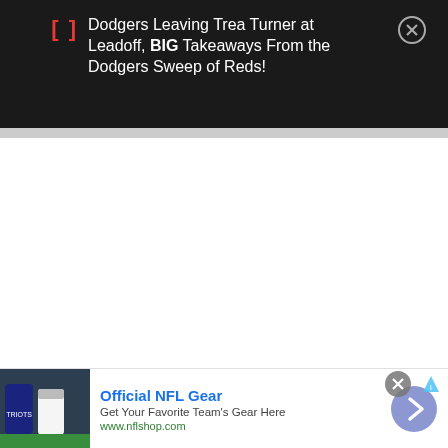[Figure (screenshot): Mobile notification overlay on dark background showing a YouTube/sports notification with red bracket icon and title 'Dodgers Leaving Trea Turner at Leadoff, BIG Takeaways From the Dodgers Sweep of Reds!' with close button (X in circle)]
[Figure (screenshot): Mobile advertisement banner at bottom: 'Official NFL NFL Gear - Get Your Favorite Team's Gear Here - www.nflshop.com' with NFL jersey image on left, blue arrow button on right, close X and ad badge icons at top right]